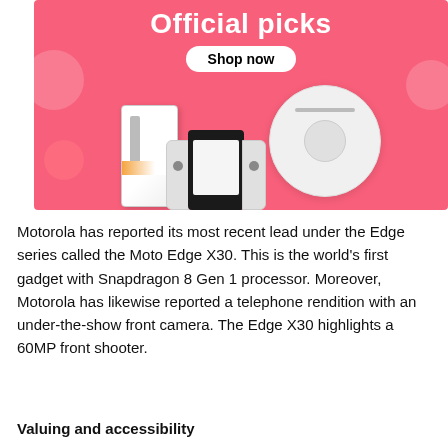[Figure (illustration): Pink promotional banner with 'Official picks' title, 'Shop now' button, and product images including a robot vacuum cleaner, a smartphone, and a Nintendo Switch-style gaming console.]
Motorola has reported its most recent lead under the Edge series called the Moto Edge X30. This is the world's first gadget with Snapdragon 8 Gen 1 processor. Moreover, Motorola has likewise reported a telephone rendition with an under-the-show front camera. The Edge X30 highlights a 60MP front shooter.
Valuing and accessibility